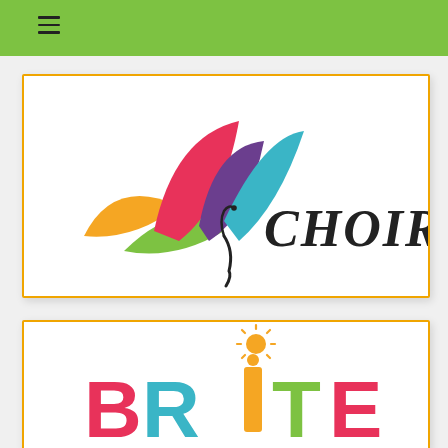[Figure (logo): Butterfly logo made of colorful leaf shapes (pink, blue, purple, orange, green) with black body and script text 'CHOIRS' next to it]
[Figure (logo): Colorful text logo 'BRITE BOY' in large block letters with bright colors (pink, teal, green, orange) and a sun illustration above the letter 'i']